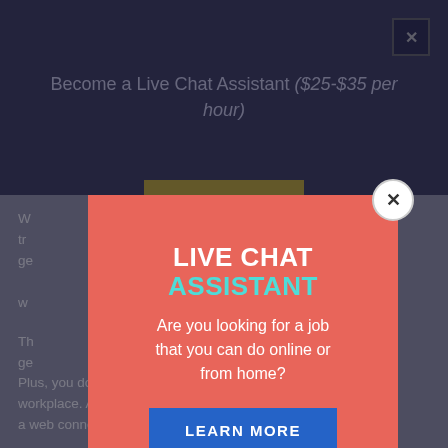Become a Live Chat Assistant ($25-$35 per hour)
W... tr... ge... ut w...
[Figure (screenshot): Modal popup overlay with salmon/coral background. Contains heading 'LIVE CHAT ASSISTANT' in white and cyan, subheading 'Are you looking for a job that you can do online or from home?' in white, and a blue 'LEARN MORE' button. A close button (X) is in top-right corner of modal.]
Th... ge... Plus, you do not have to commute or drive to a workplace. All you require is a computer system, a web connection, and a job.